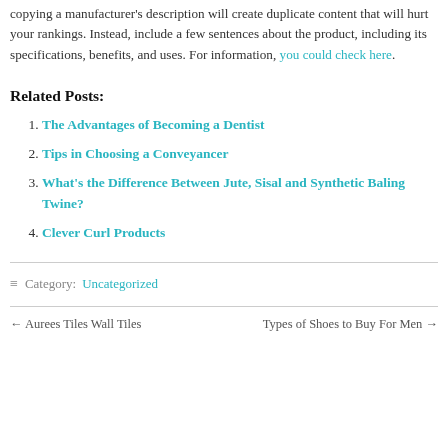copying a manufacturer's description will create duplicate content that will hurt your rankings. Instead, include a few sentences about the product, including its specifications, benefits, and uses. For information, you could check here.
Related Posts:
The Advantages of Becoming a Dentist
Tips in Choosing a Conveyancer
What's the Difference Between Jute, Sisal and Synthetic Baling Twine?
Clever Curl Products
≡ Category: Uncategorized
← Aurees Tiles Wall Tiles   Types of Shoes to Buy For Men →